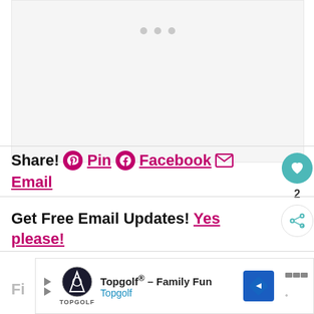[Figure (other): Light gray image placeholder with three gray dots indicating loading state]
Share! Pin Facebook Email
Get Free Email Updates! Yes please!
[Figure (other): Advertisement banner: Topgolf® - Family Fun, Topgolf, with navigation arrow icon and menu icon]
Fi...